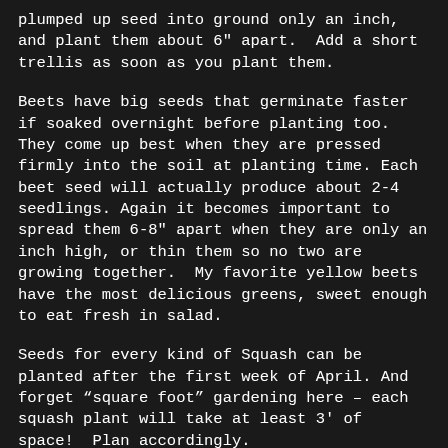plumped up seed into ground only an inch, and plant them about 6" apart.  Add a short trellis as soon as you plant them.
Beets have big seeds that germinate faster if soaked overnight before planting too.  They come up best when they are pressed firmly into the soil at planting time. Each beet seed will actually produce about 2-4 seedlings. Again it becomes important to spread them 6-8" apart when they are only an inch high, or thin them so no two are growing together.  My favorite yellow beets have the most delicious greens, sweet enough to eat fresh in salad.
Seeds for every kind of Squash can be planted after the first week of April. And forget "square foot" gardening here – each squash plant will take at least 3' of space!  Plan accordingly.
Do not even think about planting tomatoes, cucumbers or peppers until the third week of April or first of May.  It is so tempting as 70 degree days grow more frequent, but our last AVERAGE frost date is April 17th.  Tomatoes, cukes and